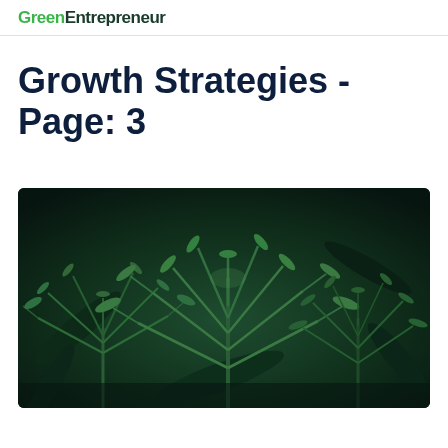GreenEntrepreneur
Growth Strategies - Page: 3
[Figure (photo): Close-up photograph of cannabis plants with dark green leaves against a dark background]